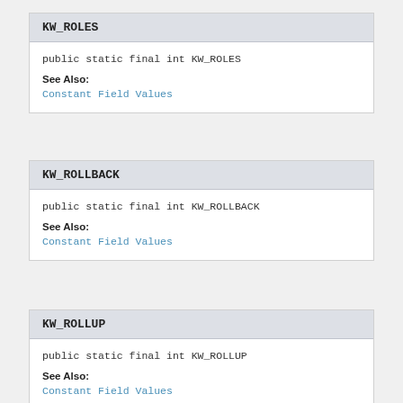KW_ROLES
public static final int KW_ROLES
See Also:
Constant Field Values
KW_ROLLBACK
public static final int KW_ROLLBACK
See Also:
Constant Field Values
KW_ROLLUP
public static final int KW_ROLLUP
See Also:
Constant Field Values